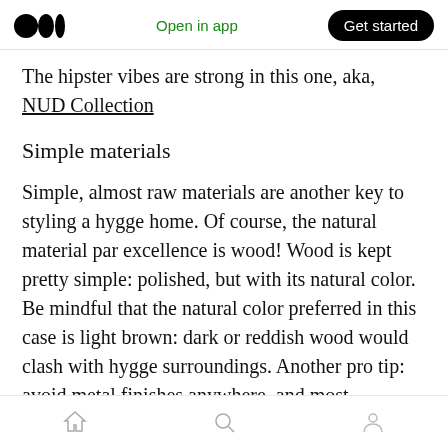Medium | Open in app | Get started
The hipster vibes are strong in this one, aka, NUD Collection
Simple materials
Simple, almost raw materials are another key to styling a hygge home. Of course, the natural material par excellence is wood! Wood is kept pretty simple: polished, but with its natural color. Be mindful that the natural color preferred in this case is light brown: dark or reddish wood would clash with hygge surroundings. Another pro tip: avoid metal finishes anywhere, and most
Home | Search | Profile